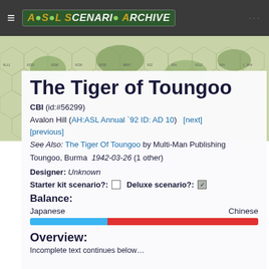[Figure (screenshot): ASL Scenario Archive website header with navigation bar containing hamburger menu, logo, and dots menu]
[Figure (illustration): ASL wargame map background with hexagonal grid showing terrain in green and tan colors]
The Tiger of Toungoo
CBI (id:#56299)
Avalon Hill (AH:ASL Annual `92 ID: AD 10)   [next] [previous]
See Also: The Tiger Of Toungoo by Multi-Man Publishing
Toungoo, Burma  1942-03-26 (1 other)
Designer: Unknown
Starter kit scenario?:  ☐   Deluxe scenario?: ☑
Balance:
Japanese                                              Chinese
[Figure (infographic): Balance bar: blue portion on left (Japanese ~34%), red portion on right (Chinese ~66%)]
Overview:
Incomplete text cut off at bottom of page